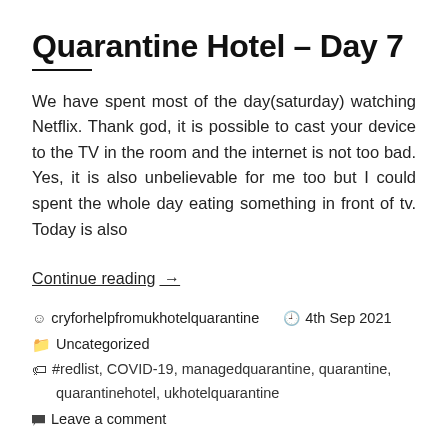Quarantine Hotel – Day 7
We have spent most of the day(saturday) watching Netflix. Thank god, it is possible to cast your device to the TV in the room and the internet is not too bad. Yes, it is also unbelievable for me too but I could spent the whole day eating something in front of tv. Today is also
Continue reading →
cryforhelpfromukhotelquarantine   4th Sep 2021
Uncategorized
#redlist, COVID-19, managedquarantine, quarantine, quarantinehotel, ukhotelquarantine
Leave a comment